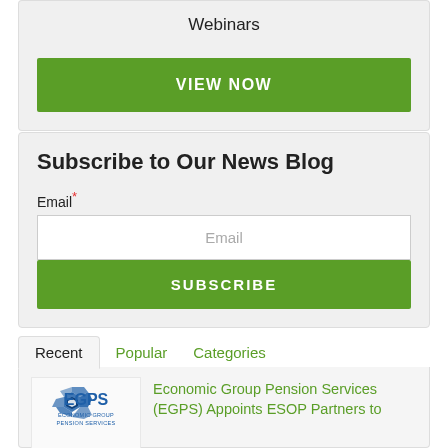Webinars
VIEW NOW
Subscribe to Our News Blog
Email*
Email
SUBSCRIBE
Recent   Popular   Categories
[Figure (logo): EGPS Economic Group Pension Services logo — blue hexagonal gear icon with EGPS text]
Economic Group Pension Services (EGPS) Appoints ESOP Partners to